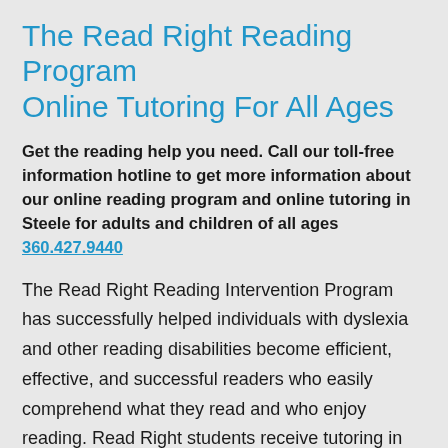The Read Right Reading Program Online Tutoring For All Ages
Get the reading help you need. Call our toll-free information hotline to get more information about our online reading program and online tutoring in Steele for adults and children of all ages 360.427.9440
The Read Right Reading Intervention Program has successfully helped individuals with dyslexia and other reading disabilities become efficient, effective, and successful readers who easily comprehend what they read and who enjoy reading. Read Right students receive tutoring in the comfort and convenience of their own homes, schools, or any location in Steele, AL